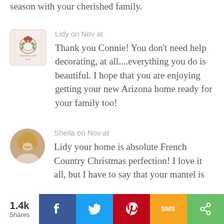season with your cherished family.
Lidy on Nov at
[Figure (logo): Lidy blog logo avatar - decorative floral/wreath logo on light background]
Thank you Connie! You don't need help decorating, at all....everything you do is beautiful. I hope that you are enjoying getting your new Arizona home ready for your family too!
Sheila on Nov at
[Figure (photo): Sheila profile photo - woman with blonde hair, circular avatar]
Lidy your home is absolute French Country Christmas perfection! I love it all, but I have to say that your mantel is
1.4k Shares